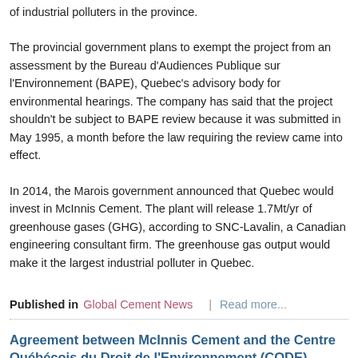of industrial polluters in the province.
The provincial government plans to exempt the project from an assessment by the Bureau d'Audiences Publique sur l'Environnement (BAPE), Quebec's advisory body for environmental hearings. The company has said that the project shouldn't be subject to BAPE review because it was submitted in May 1995, a month before the law requiring the review came into effect.
In 2014, the Marois government announced that Quebec would invest in McInnis Cement. The plant will release 1.7Mt/yr of greenhouse gases (GHG), according to SNC-Lavalin, a Canadian engineering consultant firm. The greenhouse gas output would make it the largest industrial polluter in Quebec.
Published in  Global Cement News  |  Read more...
Agreement between McInnis Cement and the Centre Québécois du Droit de l'Environnement (CQDE)
19 February 2015
Canada: McInnis Cement has reached an agreement with the Centre Québécois du Droit de l'Environnement (CQDE) regarding the proceedings filed in August 2014 against the Minister, aimed at invalidating McInnis Cement's authorisation certifi...